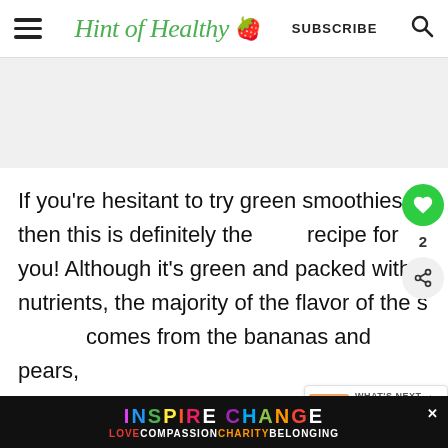Hint of Healthy 🍓  SUBSCRIBE  🔍
[Figure (other): Gray advertisement banner placeholder area]
If you're hesitant to try green smoothies, then this is definitely the recipe for you! Although it's green and packed with nutrients, the majority of the flavor of the s comes from the bananas and pears,
[Figure (infographic): WHAT'S NEXT → Strawberry Peach... promotional card with a peach/smoothie thumbnail image]
[Figure (infographic): INSPIRE CHANGE advertisement banner with rainbow colored letters and LOVE COMPASSION CHARITY BELONGING tagline]